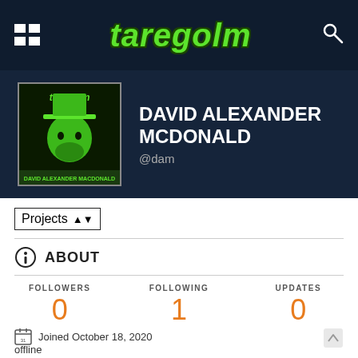taregolm navigation bar with hamburger menu, logo, and search icon
[Figure (screenshot): User profile banner with avatar image showing taregolm logo and face illustration, user name DAVID ALEXANDER MCDONALD and handle @dam on dark navy background]
Projects
ABOUT
FOLLOWERS 0
FOLLOWING 1
UPDATES 0
Joined October 18, 2020
offline